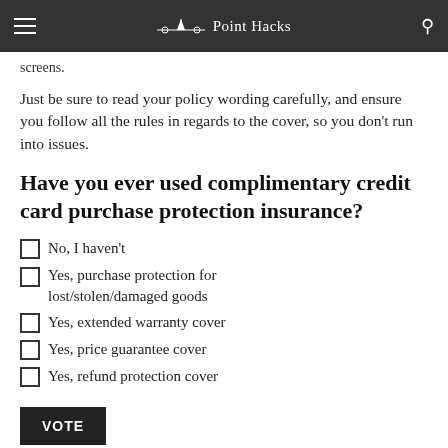Point Hacks
screens.
Just be sure to read your policy wording carefully, and ensure you follow all the rules in regards to the cover, so you don't run into issues.
Have you ever used complimentary credit card purchase protection insurance?
No, I haven't
Yes, purchase protection for lost/stolen/damaged goods
Yes, extended warranty cover
Yes, price guarantee cover
Yes, refund protection cover